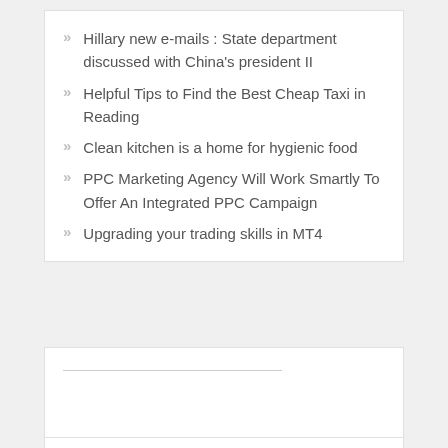Hillary new e-mails : State department discussed with China's president II
Helpful Tips to Find the Best Cheap Taxi in Reading
Clean kitchen is a home for hygienic food
PPC Marketing Agency Will Work Smartly To Offer An Integrated PPC Campaign
Upgrading your trading skills in MT4